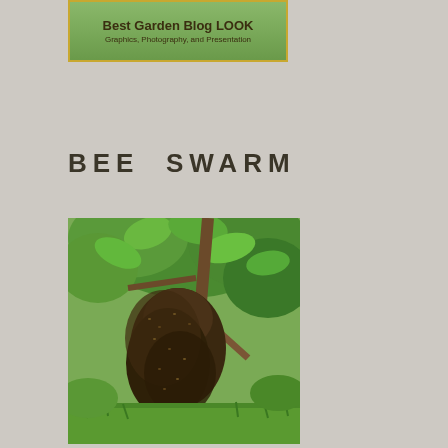[Figure (logo): Best Garden Blog LOOK banner with green background and gold border. Text reads 'Best Garden Blog LOOK' and subtitle 'Graphics, Photography, and Presentation']
BEE SWARM
[Figure (photo): Photograph of a large bee swarm hanging from the branches of a tree, forming a large dark teardrop-shaped cluster. Green leaves and grass visible in the background.]